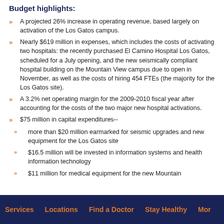Budget highlights:
A projected 26% increase in operating revenue, based largely on activation of the Los Gatos campus.
Nearly $619 million in expenses, which includes the costs of activating two hospitals: the recently purchased El Camino Hospital Los Gatos, scheduled for a July opening, and the new seismically compliant hospital building on the Mountain View campus due to open in November, as well as the costs of hiring 454 FTEs (the majority for the Los Gatos site).
A 3.2% net operating margin for the 2009-2010 fiscal year after accounting for the costs of the two major new hospital activations.
$75 million in capital expenditures--
more than $20 million earmarked for seismic upgrades and new equipment for the Los Gatos site
$16.5 million will be invested in information systems and health information technology
$11 million for medical equipment for the new Mountain
Services   Locations   Find a Doctor   Stay Healthy   More